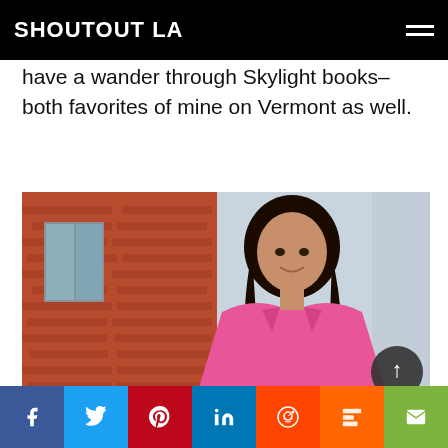SHOUTOUT LA
have a wander through Skylight books–both favorites of mine on Vermont as well.
[Figure (photo): Woman with dark wavy hair wearing a pink blazer, smiling over her shoulder, standing in front of a red brick building with large windows.]
Social sharing buttons: Facebook, Twitter, Pinterest, LinkedIn, Reddit, Mix, Email